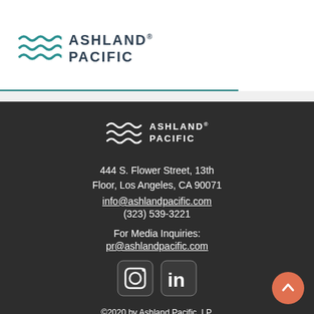[Figure (logo): Ashland Pacific logo with wavy lines icon and company name, teal/dark navy colors]
[Figure (logo): Hamburger menu icon (three horizontal lines)]
[Figure (logo): Ashland Pacific footer logo in white]
444 S. Flower Street, 13th Floor, Los Angeles, CA 90071
info@ashlandpacific.com
(323) 539-3221
For Media Inquiries:
pr@ashlandpacific.com
[Figure (other): Instagram and LinkedIn social media icons in rounded square frames]
©2020 by Ashland Pacific, LP.
California DRE# O2092585